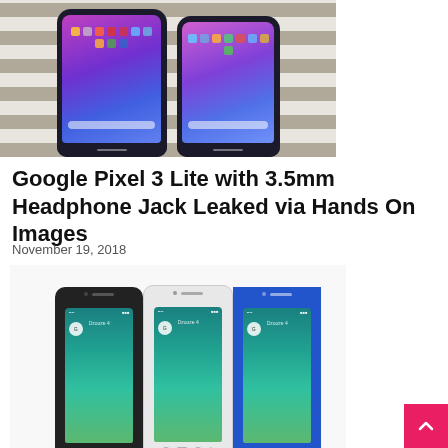[Figure (photo): Two Google Pixel 3 smartphones side by side on a striped background, showing their colorful gradient screens with app icons]
Google Pixel 3 Lite with 3.5mm Headphone Jack Leaked via Hands On Images
November 19, 2018
[Figure (photo): Three Google Pixel phones in black, white, and blue colorways shown side by side]